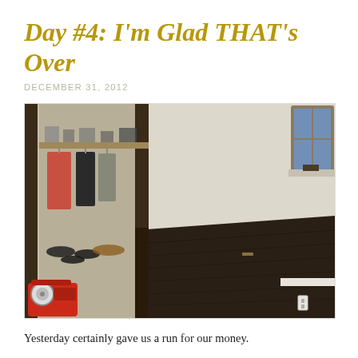Day #4: I'm Glad THAT's Over
DECEMBER 31, 2012
[Figure (photo): Interior room photo showing bare dark hardwood floor after carpet removal. On the left is a closet area with a shelf holding various items and clothes hanging, with shoes scattered on the floor. The right side shows plain white walls and a small window. A red air compressor is visible in the bottom left corner.]
Yesterday certainly gave us a run for our money.